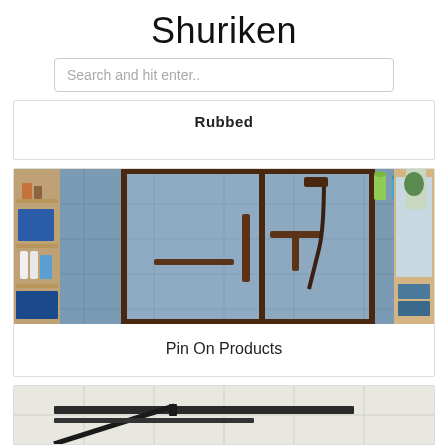Shuriken
Search and hit enter..
Rubbed
[Figure (photo): Photo of a glass shower enclosure with dark bronze/oil-rubbed bronze framing and handles, blue-gray stone tile walls, bathroom shelving visible on the left with products, and a mirror/shelving unit on the right.]
Pin On Products
[Figure (photo): Partial view of a shower door or enclosure floor plan/hardware diagram on a light tile floor, showing dark metal tracks or rails.]